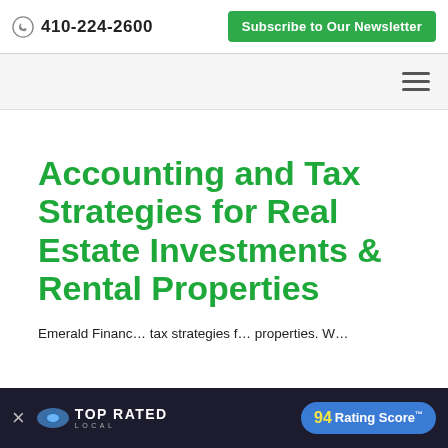410-224-2600  Subscribe to Our Newsletter
[Figure (other): Hamburger menu icon (three horizontal lines) in navigation bar]
Accounting and Tax Strategies for Real Estate Investments & Rental Properties
Emerald Financ… tax strategies f… properties. W…
[Figure (other): Top Rated Local banner overlay with close button, fish logo, TOP RATED LOCAL text, and 94 Rating Score badge]